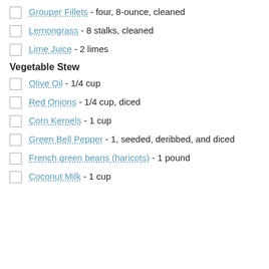Grouper Fillets - four, 8-ounce, cleaned
Lemongrass - 8 stalks, cleaned
Lime Juice - 2 limes
Vegetable Stew
Olive Oil - 1/4 cup
Red Onions - 1/4 cup, diced
Corn Kernels - 1 cup
Green Bell Pepper - 1, seeded, deribbed, and diced
French green beans (haricots) - 1 pound
Coconut Milk - 1 cup